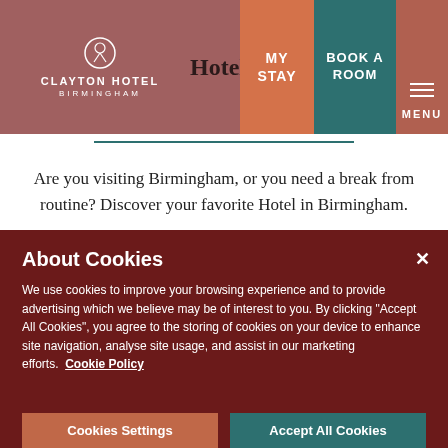[Figure (logo): Clayton Hotel Birmingham logo - white circle icon above text 'CLAYTON HOTEL BIRMINGHAM' in white on mauve/rose background]
Hotel in Birmingham
Are you visiting Birmingham, or you need a break from routine? Discover your favorite Hotel in Birmingham.
Welcome to Clayton Hotel Birmingham, our family-friendly hotel in Birmingham city centre, located in the heart of Birmingham city centre, just a two-minute walk from
About Cookies
We use cookies to improve your browsing experience and to provide advertising which we believe may be of interest to you. By clicking "Accept All Cookies", you agree to the storing of cookies on your device to enhance site navigation, analyse site usage, and assist in our marketing efforts.  Cookie Policy